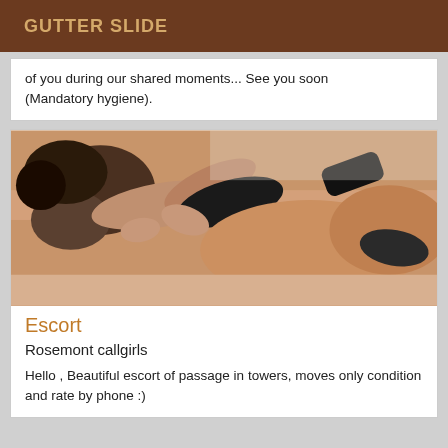GUTTER SLIDE
of you during our shared moments... See you soon (Mandatory hygiene).
[Figure (photo): A couple in an intimate embrace on a bed, woman wearing black lingerie]
Escort
Rosemont callgirls
Hello , Beautiful escort of passage in towers, moves only condition and rate by phone :)